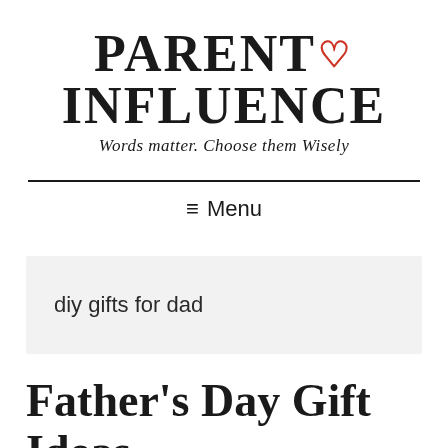[Figure (logo): Parent Influence logo with red heart between PARENT and INFLUENCE in bold serif font, tagline 'Words matter. Choose them Wisely' in italic below]
≡ Menu
diy gifts for dad
Father's Day Gift Ideas